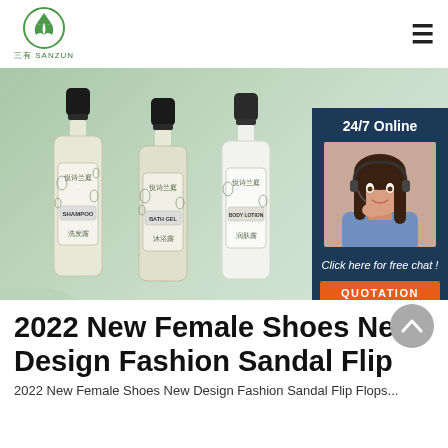三有 SANZUN — logo and hamburger menu
[Figure (photo): Product photo showing three transparent bottles of Chinese personal care products (Shampoo, Bath Gel, Body Lotion) branded 悦诗兰庭, arranged on a light green background. On the right side, a customer service chat overlay box with '24/7 Online', a photo of a female customer service agent wearing a headset, 'Click here for free chat!', and an orange QUOTATION button.]
2022 New Female Shoes New Design Fashion Sandal Flip
2022 New Female Shoes New Design Fashion Sandal Flip Flops...